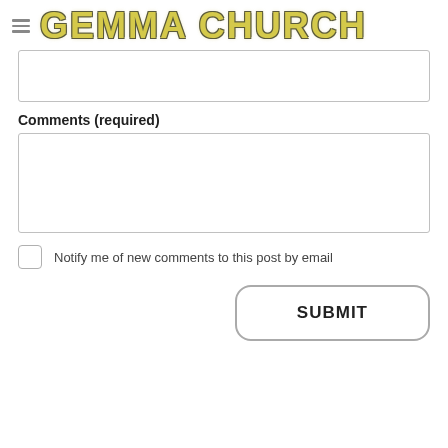GEMMA CHURCH
[Figure (screenshot): A text input field (empty)]
Comments (required)
[Figure (screenshot): A larger textarea input field (empty) for comments]
Notify me of new comments to this post by email
SUBMIT